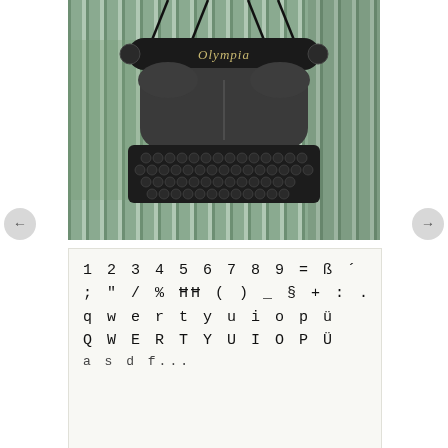[Figure (photo): Photograph of an Olympia brand vintage typewriter mounted on a corrugated metal wall background. The typewriter is dark grey/black with a visible keyboard showing German QWERTZ layout keys and the 'Olympia' brand name on the paper roller.]
[Figure (photo): Close-up photo of typewritten character sample on white paper showing: row 1: '1 2 3 4 5 6 7 8 9 = ß ´'; row 2: '; " / % ĦĦ ( ) _ § + : .'; row 3: 'q w e r t y u i o p ü'; row 4: 'Q W E R T Y U I O P Ü'; row 5 (partially visible): 'a A s d...' etc.]